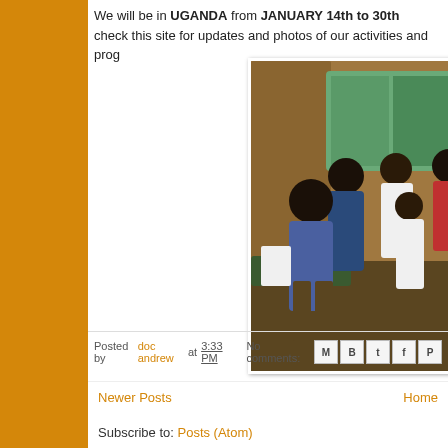We will be in UGANDA from JANUARY 14th to 30th
check this site for updates and photos of our activities and prog...
[Figure (photo): Group photo of several people including African men and a white man standing in front of a building with stone/brick exterior]
Posted by doc andrew at 3:33 PM   No comments:
Newer Posts
Home
Subscribe to: Posts (Atom)